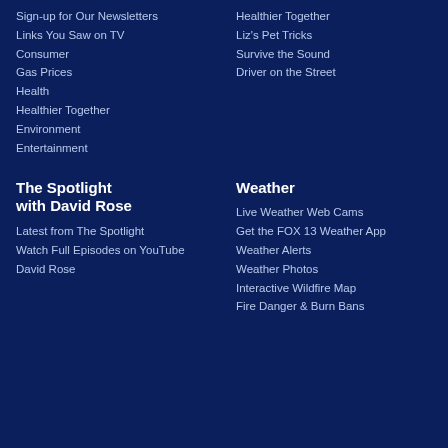Sign-up for Our Newsletters
Links You Saw on TV
Consumer
Gas Prices
Health
Healthier Together
Environment
Entertainment
Healthier Together
Liz's Pet Tricks
Survive the Sound
Driver on the Street
The Spotlight with David Rose
Latest from The Spotlight
Watch Full Episodes on YouTube
David Rose
Weather
Live Weather Web Cams
Get the FOX 13 Weather App
Weather Alerts
Weather Photos
Interactive Wildfire Map
Fire Danger & Burn Bans